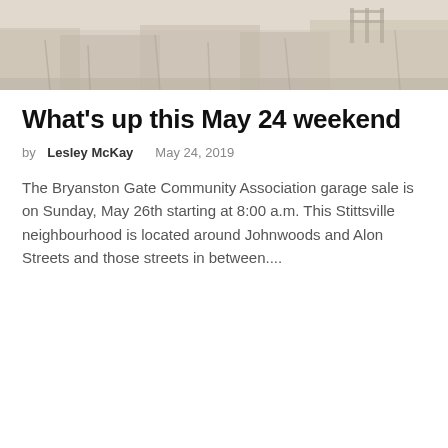[Figure (photo): Outdoor landscape/nature photo, muted tones with vegetation and possibly a fence or sign in the background, light pinkish-beige color palette]
What's up this May 24 weekend
by Lesley McKay    May 24, 2019
The Bryanston Gate Community Association garage sale is on Sunday, May 26th starting at 8:00 a.m. This Stittsville neighbourhood is located around Johnwoods and Alon Streets and those streets in between....